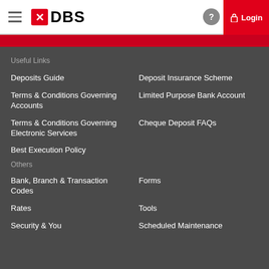DBS Login
Useful Links
Deposits Guide
Deposit Insurance Scheme
Terms & Conditions Governing Accounts
Limited Purpose Bank Account
Terms & Conditions Governing Electronic Services
Cheque Deposit FAQs
Best Execution Policy
Others
Bank, Branch & Transaction Codes
Forms
Rates
Tools
Security & You
Scheduled Maintenance